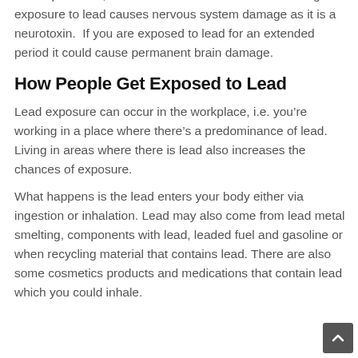health problems, diseases and blood disorders. Prolonged exposure to lead causes nervous system damage as it is a neurotoxin.  If you are exposed to lead for an extended period it could cause permanent brain damage.
How People Get Exposed to Lead
Lead exposure can occur in the workplace, i.e. you’re working in a place where there’s a predominance of lead. Living in areas where there is lead also increases the chances of exposure.
What happens is the lead enters your body either via ingestion or inhalation. Lead may also come from lead metal smelting, components with lead, leaded fuel and gasoline or when recycling material that contains lead. There are also some cosmetics products and medications that contain lead which you could inhale.